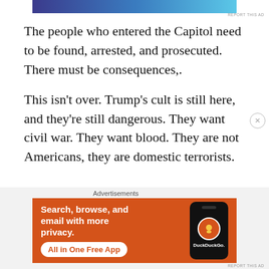[Figure (other): Advertisement banner at top with dark blue and cyan gradient colors]
The people who entered the Capitol need to be found, arrested, and prosecuted. There must be consequences,.
This isn’t over. Trump’s cult is still here, and they’re still dangerous. They want civil war. They want blood. They are not Americans, they are domestic terrorists.
[Figure (other): DuckDuckGo advertisement: orange background with text 'Search, browse, and email with more privacy. All in One Free App' and a phone mockup showing the DuckDuckGo logo]